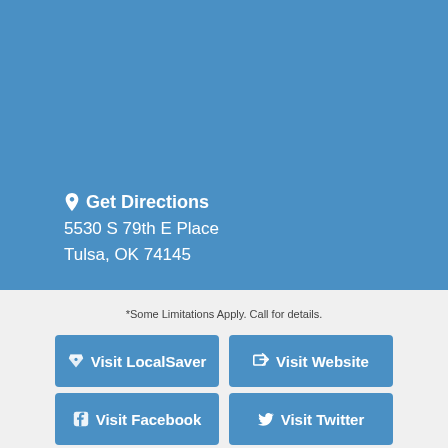[Figure (map): Blue map background panel occupying the upper portion of the page]
Get Directions
5530 S 79th E Place
Tulsa, OK 74145
*Some Limitations Apply. Call for details.
Visit LocalSaver
Visit Website
Visit Facebook
Visit Twitter